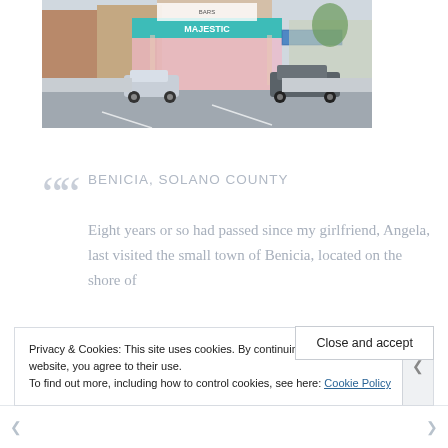[Figure (photo): Street-level photo of Majestic theater building in Benicia with parked cars on the street and storefronts visible]
BENICIA, SOLANO COUNTY
Eight years or so had passed since my girlfriend, Angela, last visited the small town of Benicia, located on the shore of
Privacy & Cookies: This site uses cookies. By continuing to use this website, you agree to their use.
To find out more, including how to control cookies, see here: Cookie Policy
Close and accept